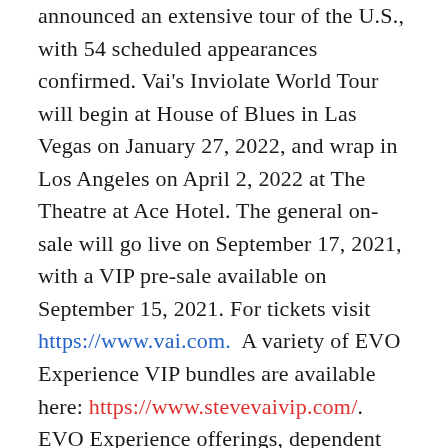announced an extensive tour of the U.S., with 54 scheduled appearances confirmed. Vai's Inviolate World Tour will begin at House of Blues in Las Vegas on January 27, 2022, and wrap in Los Angeles on April 2, 2022 at The Theatre at Ace Hotel. The general on-sale will go live on September 17, 2021, with a VIP pre-sale available on September 15, 2021. For tickets visit https://www.vai.com.  A variety of EVO Experience VIP bundles are available here: https://www.stevevaivip.com/. EVO Experience offerings, dependent upon tier purchased, include signed JEM Jr. guitars; an invitation to a pre-show group Q&A, meet-and-greet and photo with Steve; soundcheck viewing access; a guided tour of Steve's